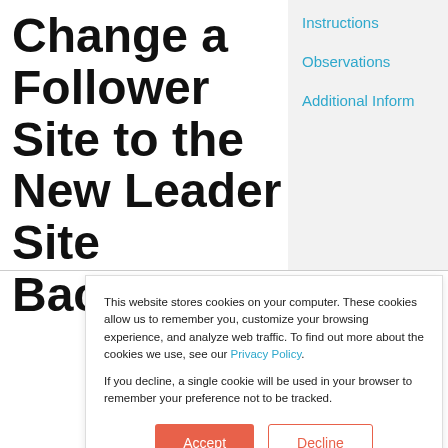Change a Follower Site to the New Leader Site Background
Instructions
Observations
Additional Inform
Version: 17.2
View PDF ›
This website stores cookies on your computer. These cookies allow us to remember you, customize your browsing experience, and analyze web traffic. To find out more about the cookies we use, see our Privacy Policy.
If you decline, a single cookie will be used in your browser to remember your preference not to be tracked.